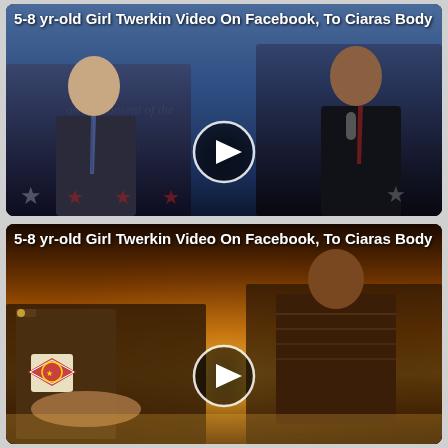[Figure (screenshot): Video thumbnail showing two men in suits at a podium debate setting with blue background and stars, with a play button overlay. Title text reads: 5-8 yr-old Girl Twerkin Video On Facebook, To Ciaras Body]
[Figure (screenshot): Video thumbnail showing people in military/action movie scene with warm orange/brown tones, with a play button overlay. Title text reads: 5-8 yr-old Girl Twerkin Video On Facebook, To Ciaras Body]